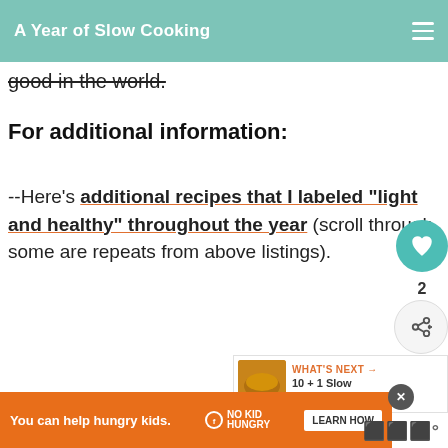A Year of Slow Cooking
good in the world.
For additional information:
--Here's additional recipes that I labeled "light and healthy" throughout the year (scroll through, some are repeats from above listings).
[Figure (infographic): What's Next promo card: thumbnail image of food, label 'WHAT'S NEXT', text '10 + 1 Slow Cooker Clea...']
[Figure (infographic): Ad banner: orange background, 'You can help hungry kids.' with No Kid Hungry logo and 'LEARN HOW' button. Close button and dismiss icon visible.]